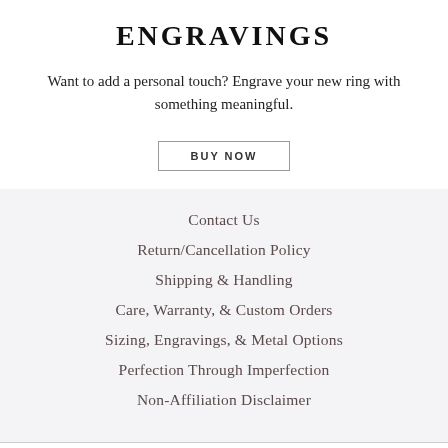ENGRAVINGS
Want to add a personal touch? Engrave your new ring with something meaningful.
BUY NOW
Contact Us
Return/Cancellation Policy
Shipping & Handling
Care, Warranty, & Custom Orders
Sizing, Engravings, & Metal Options
Perfection Through Imperfection
Non-Affiliation Disclaimer